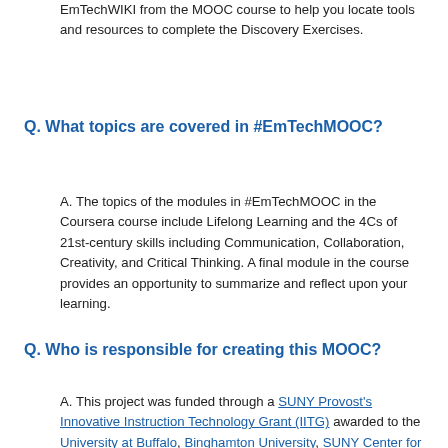EmTechWIKI from the MOOC course to help you locate tools and resources to complete the Discovery Exercises.
Q. What topics are covered in #EmTechMOOC?
A. The topics of the modules in #EmTechMOOC in the Coursera course include Lifelong Learning and the 4Cs of 21st-century skills including Communication, Collaboration, Creativity, and Critical Thinking. A final module in the course provides an opportunity to summarize and reflect upon your learning.
Q. Who is responsible for creating this MOOC?
A. This project was funded through a SUNY Provost's Innovative Instruction Technology Grant (IITG) awarded to the University at Buffalo, Binghamton University, SUNY Center for Professional Development...